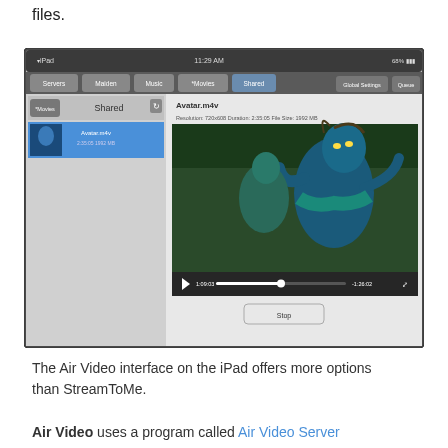files.
[Figure (screenshot): Air Video iPad app interface showing a list of shared movies including Avatar.m4v selected (with details: Resolution 720x608, Duration 2:35:05, File Size 1992 MB), and a video player preview showing a scene from Avatar (blue Na'vi character), with playback controls showing 1:09:03 / -1:26:02, and a Stop button below.]
The Air Video interface on the iPad offers more options than StreamToMe.
Air Video uses a program called Air Video Server